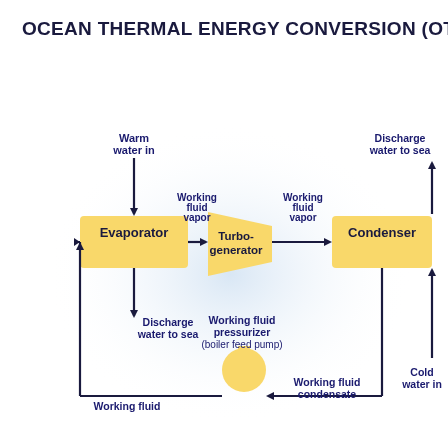OCEAN THERMAL ENERGY CONVERSION (OTEC)
[Figure (flowchart): OTEC cycle diagram showing Evaporator, Turbo-generator, and Condenser connected by working fluid vapor flow, with warm water in to Evaporator, discharge water to sea from Evaporator, cold water in to Condenser, discharge water to sea from Condenser, working fluid condensate flowing back through a working fluid pressurizer (boiler feed pump), and working fluid returning to Evaporator.]